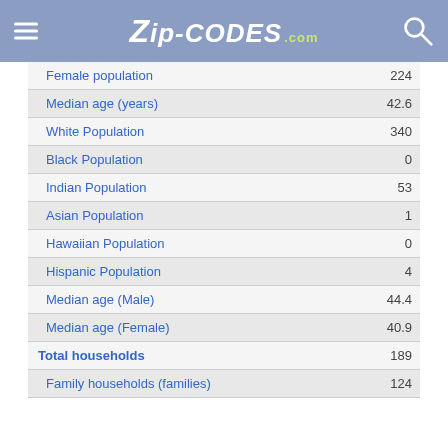Zip-codes.com
| Category | Value |
| --- | --- |
| Female population | 224 |
| Median age (years) | 42.6 |
| White Population | 340 |
| Black Population | 0 |
| Indian Population | 53 |
| Asian Population | 1 |
| Hawaiian Population | 0 |
| Hispanic Population | 4 |
| Median age (Male) | 44.4 |
| Median age (Female) | 40.9 |
| Total households | 189 |
| Family households (families) | 124 |